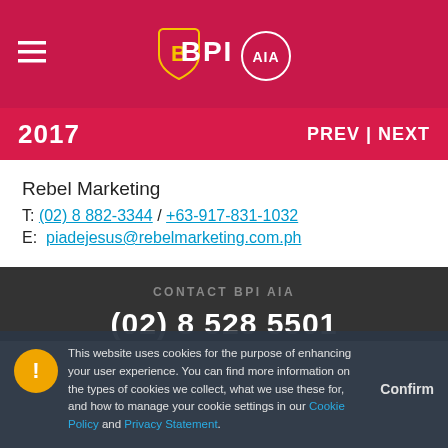BPI AIA header with logo
2017   PREV | NEXT
Rebel Marketing
T: (02) 8 882-3344 / +63-917-831-1032
E: piadejesus@rebelmarketing.com.ph
CONTACT BPI AIA
(02) 8 528 5501
This website uses cookies for the purpose of enhancing your user experience. You can find more information on the types of cookies we collect, what we use these for, and how to manage your cookie settings in our Cookie Policy and Privacy Statement.